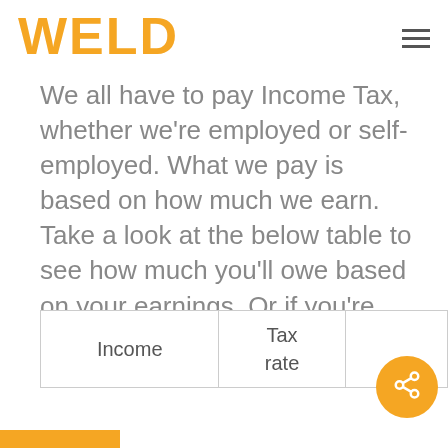WELD
We all have to pay Income Tax, whether we're employed or self-employed. What we pay is based on how much we earn. Take a look at the below table to see how much you'll owe based on your earnings. Or if you're based in Scotland, click here.
| Income | Tax rate |  |
| --- | --- | --- |